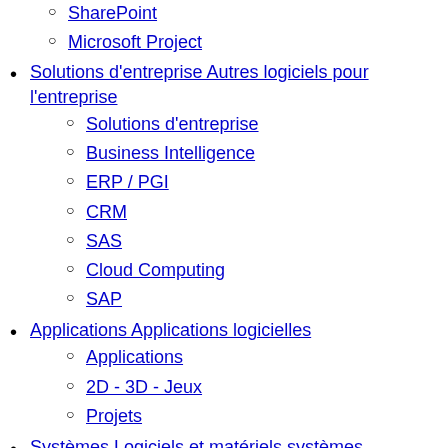PowerPoint
SharePoint
Microsoft Project
Solutions d'entreprise Autres logiciels pour l'entreprise
Solutions d'entreprise
Business Intelligence
ERP / PGI
CRM
SAS
Cloud Computing
SAP
Applications Applications logicielles
Applications
2D - 3D - Jeux
Projets
Systèmes Logiciels et matériels systèmes
Systèmes
Windows
Linux Professionnel
Sécurité
PC
Mac
Réseau
Mobiles
Green IT